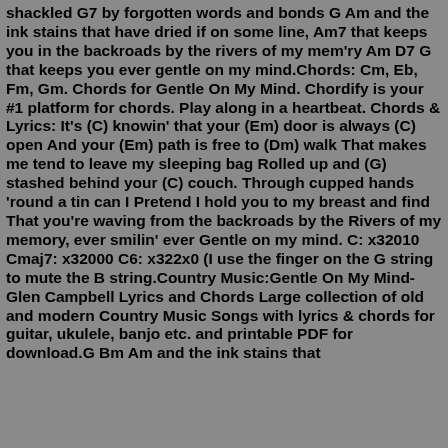shackled G7 by forgotten words and bonds G Am and the ink stains that have dried if on some line, Am7 that keeps you in the backroads by the rivers of my mem'ry Am D7 G that keeps you ever gentle on my mind.Chords: Cm, Eb, Fm, Gm. Chords for Gentle On My Mind. Chordify is your #1 platform for chords. Play along in a heartbeat. Chords & Lyrics: It's (C) knowin' that your (Em) door is always (C) open And your (Em) path is free to (Dm) walk That makes me tend to leave my sleeping bag Rolled up and (G) stashed behind your (C) couch. Through cupped hands 'round a tin can I Pretend I hold you to my breast and find That you're waving from the backroads by the Rivers of my memory, ever smilin' ever Gentle on my mind. C: x32010 Cmaj7: x32000 C6: x322x0 (I use the finger on the G string to mute the B string.Country Music:Gentle On My Mind-Glen Campbell Lyrics and Chords Large collection of old and modern Country Music Songs with lyrics & chords for guitar, ukulele, banjo etc. and printable PDF for download.G Bm Am and the ink stains that